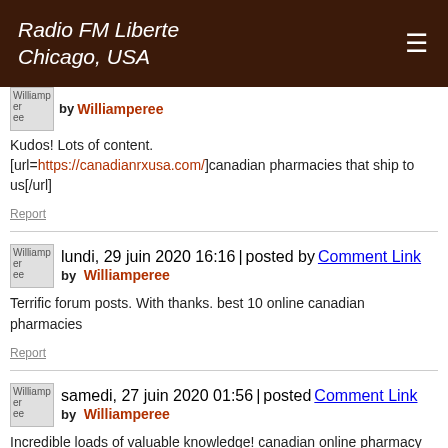Radio FM Liberte
Chicago, USA
by Williamperee
Kudos! Lots of content. [url=https://canadianrxusa.com/]canadian pharmacies that ship to us[/url]
Report
lundi, 29 juin 2020 16:16 | posted by Comment Link
by Williamperee
Terrific forum posts. With thanks. best 10 online canadian pharmacies
Report
samedi, 27 juin 2020 01:56 | posted Comment Link
by Williamperee
Incredible loads of valuable knowledge! canadian online pharmacy
Report